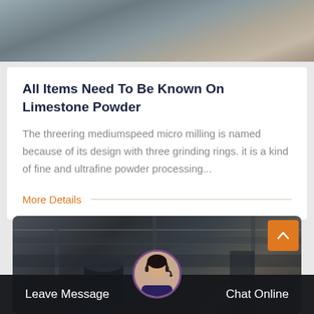[Figure (photo): Top industrial/mining photo showing construction or mining equipment with sand/gravel background]
All Items Need To Be Known On Limestone Powder
The threering mediumspeed micro milling is named because of its design with three grinding rings. it is a kind of fine and ultrafine powder processing...
More Details
[Figure (photo): Industrial plant interior showing large pipes and machinery inside a factory building]
Leave Message
Chat Online